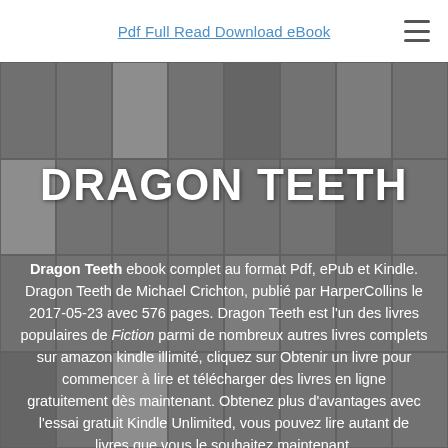Pdf Full Read Download eBook
DRAGON TEETH
Dragon Teeth ebook complet au format Pdf, ePub et Kindle. Dragon Teeth de Michael Crichton, publié par HarperCollins le 2017-05-23 avec 576 pages. Dragon Teeth est l'un des livres populaires de Fiction parmi de nombreux autres livres complets sur amazon kindle illimité, cliquez sur Obtenir un livre pour commencer à lire et télécharger des livres en ligne gratuitement dès maintenant. Obtenez plus d'avantages avec l'essai gratuit Kindle Unlimited, vous pouvez lire autant de livres que vous le souhaitez maintenant.